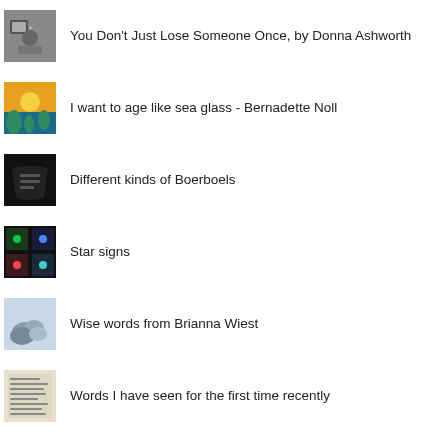You Don't Just Lose Someone Once, by Donna Ashworth
I want to age like sea glass - Bernadette Noll
Different kinds of Boerboels
Star signs
Wise words from Brianna Wiest
Words I have seen for the first time recently